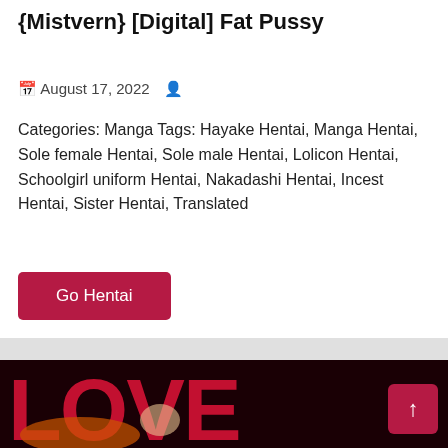{Mistvern} [Digital] Fat Pussy
August 17, 2022
Categories: Manga Tags: Hayake Hentai, Manga Hentai, Sole female Hentai, Sole male Hentai, Lolicon Hentai, Schoolgirl uniform Hentai, Nakadashi Hentai, Incest Hentai, Sister Hentai, Translated
Go Hentai
[Figure (illustration): Manga cover image with red LOVE text and anime characters]